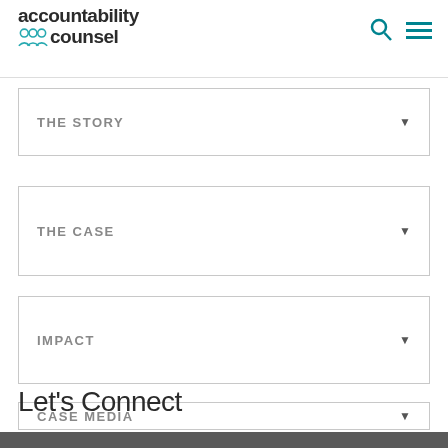accountability counsel
THE STORY
THE CASE
IMPACT
CASE MEDIA
Let's Connect